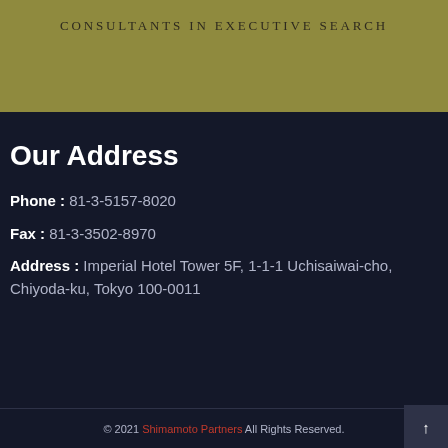Consultants in Executive Search
Our Address
Phone : 81-3-5157-8020
Fax : 81-3-3502-8970
Address : Imperial Hotel Tower 5F, 1-1-1 Uchisaiwai-cho, Chiyoda-ku, Tokyo 100-0011
© 2021 Shimamoto Partners All Rights Reserved.